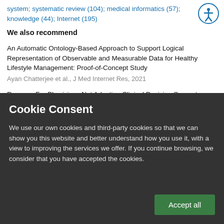system; systematic review (104); medical informatics (57); knowledge (44); Internet (195)
We also recommend
An Automatic Ontology-Based Approach to Support Logical Representation of Observable and Measurable Data for Healthy Lifestyle Management: Proof-of-Concept Study
Ayan Chatterjee et al., J Med Internet Res, 2021
Reasons For Physicians Not Adopting Clinical Decision Support Systems: Critical Analysis
Saif Khairat et al., JMIR Med Inform, 2018
Cookie Consent
We use our own cookies and third-party cookies so that we can show you this website and better understand how you use it, with a view to improving the services we offer. If you continue browsing, we consider that you have accepted the cookies.
Accept all